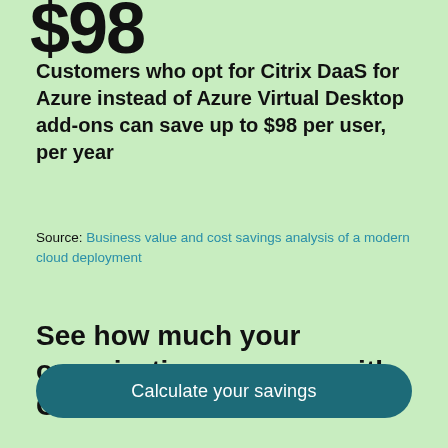$98
Customers who opt for Citrix DaaS for Azure instead of Azure Virtual Desktop add-ons can save up to $98 per user, per year
Source: Business value and cost savings analysis of a modern cloud deployment
See how much your organization can save with Citrix
Calculate your savings